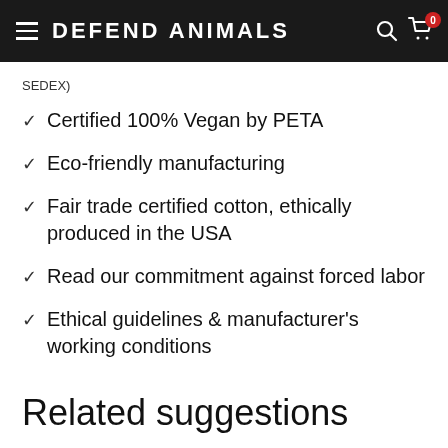DEFEND ANIMALS
SEDEX)
Certified 100% Vegan by PETA
Eco-friendly manufacturing
Fair trade certified cotton, ethically produced in the USA
Read our commitment against forced labor
Ethical guidelines & manufacturer's working conditions
Related suggestions